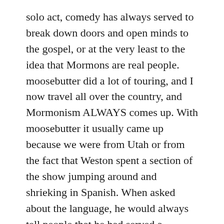solo act, comedy has always served to break down doors and open minds to the gospel, or at the very least to the idea that Mormons are real people. moosebutter did a lot of touring, and I now travel all over the country, and Mormonism ALWAYS comes up. With moosebutter it usually came up because we were from Utah or from the fact that Weston spent a section of the show jumping around and shrieking in Spanish. When asked about the language, he would always tell people that he had served a Spanish-speaking mission for the church.
What about not-comedy music?